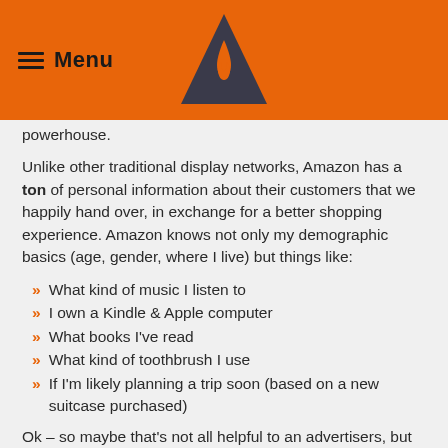Menu
powerhouse.
Unlike other traditional display networks, Amazon has a ton of personal information about their customers that we happily hand over, in exchange for a better shopping experience. Amazon knows not only my demographic basics (age, gender, where I live) but things like:
What kind of music I listen to
I own a Kindle & Apple computer
What books I've read
What kind of toothbrush I use
If I'm likely planning a trip soon (based on a new suitcase purchased)
Ok – so maybe that's not all helpful to an advertisers, but the point is that Amazon could